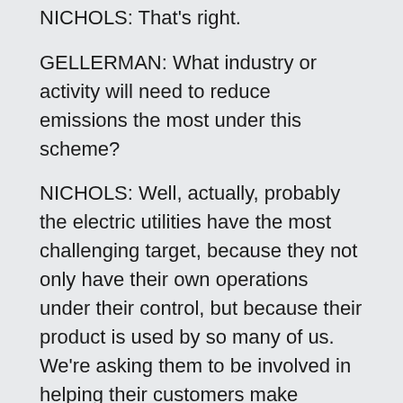NICHOLS: That's right.
GELLERMAN: What industry or activity will need to reduce emissions the most under this scheme?
NICHOLS: Well, actually, probably the electric utilities have the most challenging target, because they not only have their own operations under their control, but because their product is used by so many of us. We're asking them to be involved in helping their customers make reductions as well, but fortunately we have a lot of experience with that in California because we've had for decades now some of the most advanced electricity efficiency programs.
GELLERMAN: Well, you've had some pushback from the lobbying arm of the California Manufacturers and Technology Association. They say it's going to add billions of dollars to ratepayers and utilities.